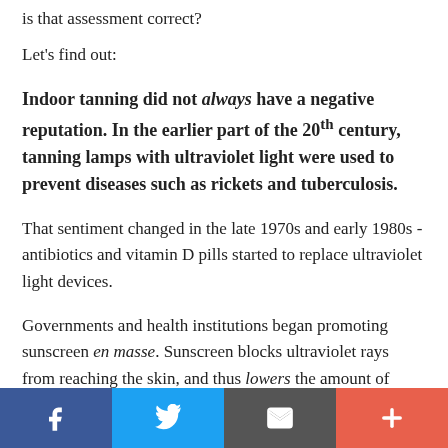is that assessment correct?
Let's find out:
Indoor tanning did not always have a negative reputation. In the earlier part of the 20th century, tanning lamps with ultraviolet light were used to prevent diseases such as rickets and tuberculosis.
That sentiment changed in the late 1970s and early 1980s - antibiotics and vitamin D pills started to replace ultraviolet light devices.
Governments and health institutions began promoting sunscreen en masse. Sunscreen blocks ultraviolet rays from reaching the skin, and thus lowers the amount of ultraviolet light
[Figure (infographic): Social sharing bar at the bottom with Facebook, Twitter, email/envelope, and plus buttons in blue, blue, dark gray, and red-orange colors.]